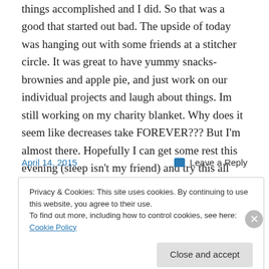things accomplished and I did. So that was a good that started out bad. The upside of today was hanging out with some friends at a stitcher circle. It was great to have yummy snacks-brownies and apple pie, and just work on our individual projects and laugh about things. Im still working on my charity blanket. Why does it seem like decreases take FOREVER??? But I'm almost there. Hopefully I can get some rest this evening (sleep isn't my friend) and try this all again tomorrow.
April 14, 2015
Leave a Reply
Privacy & Cookies: This site uses cookies. By continuing to use this website, you agree to their use.
To find out more, including how to control cookies, see here: Cookie Policy
Close and accept